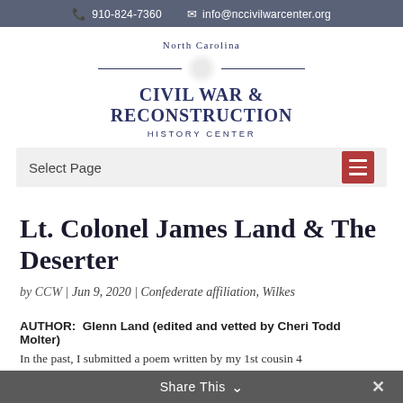910-824-7360  info@nccivilwarcenter.org
[Figure (logo): North Carolina Civil War & Reconstruction History Center logo with decorative lines and faded circular emblem]
Select Page
Lt. Colonel James Land & The Deserter
by CCW | Jun 9, 2020 | Confederate affiliation, Wilkes
AUTHOR:  Glenn Land (edited and vetted by Cheri Todd Molter)
In the past, I submitted a poem written by my 1st cousin 4
Share This